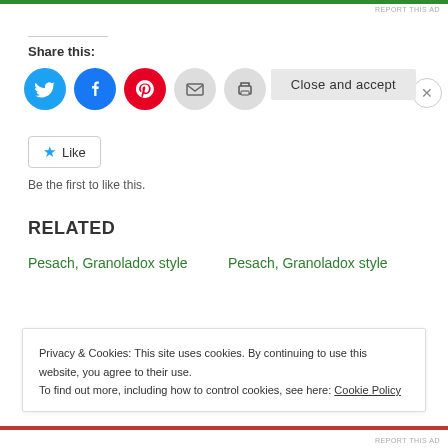REPORT THIS AD
Share this:
[Figure (infographic): Row of social sharing icons: Twitter (blue), Facebook (blue), Pinterest (red), Email (gray), Print (gray)]
Like
Be the first to like this.
RELATED
Pesach, Granoladox style
Pesach, Granoladox style
Privacy & Cookies: This site uses cookies. By continuing to use this website, you agree to their use.
To find out more, including how to control cookies, see here: Cookie Policy
Close and accept
REPORT THIS AD